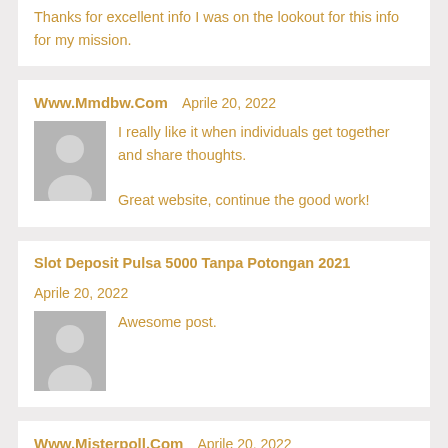Thanks for excellent info I was on the lookout for this info for my mission.
Www.Mmdbw.Com   Aprile 20, 2022
I really like it when individuals get together and share thoughts.
Great website, continue the good work!
Slot Deposit Pulsa 5000 Tanpa Potongan 2021   Aprile 20, 2022
Awesome post.
Www.Misterpoll.Com   Aprile 20, 2022
Hello to every one, for the reason that I am